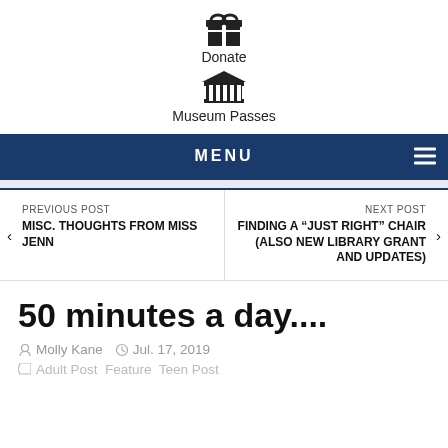[Figure (infographic): Gift/donate icon with label 'Donate']
[Figure (infographic): Museum/bank building icon with label 'Museum Passes']
MENU
PREVIOUS POST
MISC. THOUGHTS FROM MISS JENN
NEXT POST
FINDING A “JUST RIGHT” CHAIR (ALSO NEW LIBRARY GRANT AND UPDATES)
50 minutes a day....
Molly Kane  Jul. 17, 2019
Adult Post  Feature  Teen Post